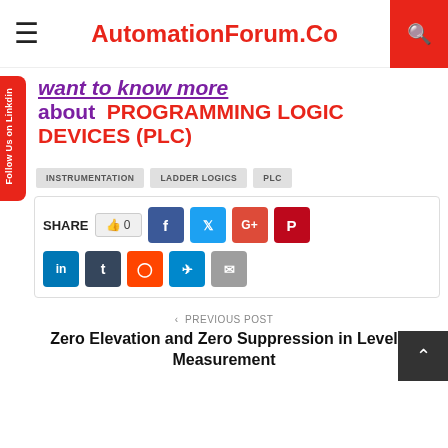AutomationForum.Co
want to know more about PROGRAMMING LOGIC DEVICES (PLC)
INSTRUMENTATION
LADDER LOGICS
PLC
SHARE 0 [social share buttons: Facebook, Twitter, Google+, Pinterest, LinkedIn, Tumblr, Reddit, Telegram, Email]
Follow Us on Linkdin
< PREVIOUS POST
Zero Elevation and Zero Suppression in Level Measurement